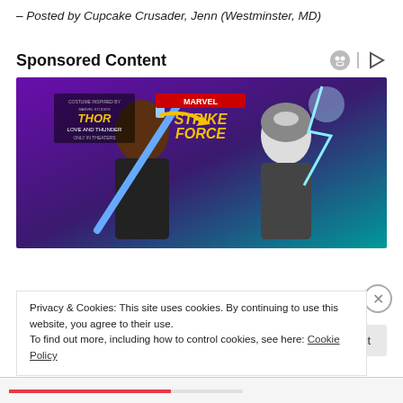– Posted by Cupcake Crusader, Jenn (Westminster, MD)
Sponsored Content
[Figure (illustration): Marvel Strike Force game advertisement showing two female characters: one with a sword (Costume inspired by Thor Love and Thunder) and one in Thor armor with lightning hammer. Marvel Strike Force logo visible in top center.]
Privacy & Cookies: This site uses cookies. By continuing to use this website, you agree to their use.
To find out more, including how to control cookies, see here: Cookie Policy
Close and accept